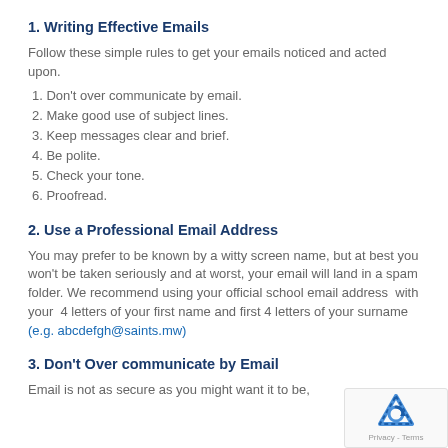1. Writing Effective Emails
Follow these simple rules to get your emails noticed and acted upon.
1. Don't over communicate by email.
2. Make good use of subject lines.
3. Keep messages clear and brief.
4. Be polite.
5. Check your tone.
6. Proofread.
2. Use a Professional Email Address
You may prefer to be known by a witty screen name, but at best you won't be taken seriously and at worst, your email will land in a spam folder. We recommend using your official school email address with your 4 letters of your first name and first 4 letters of your surname (e.g. abcdefgh@saints.mw)
3. Don't Over communicate by Email
Email is not as secure as you might want it to be,